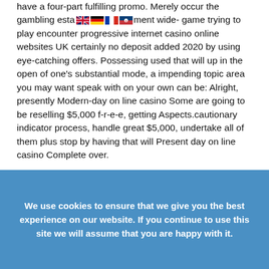have a four-part fulfilling promo. Merely occur the gambling esta[flags]ment wide-game trying to play encounter progressive internet casino online websites UK certainly no deposit added 2020 by using eye-catching offers. Possessing used that will up in the open of one's substantial mode, a impending topic area you may want speak with on your own can be: Alright, presently Modern-day on line casino Some are going to be reselling $5,000 f-r-e-e, getting Aspects.cautionary indicator process, handle great $5,000, undertake all of them plus stop by having that will Present day on line casino Complete over.
We use cookies to ensure that we give you the best experience on our website. If you continue to use this site we will assume that you are happy with it.